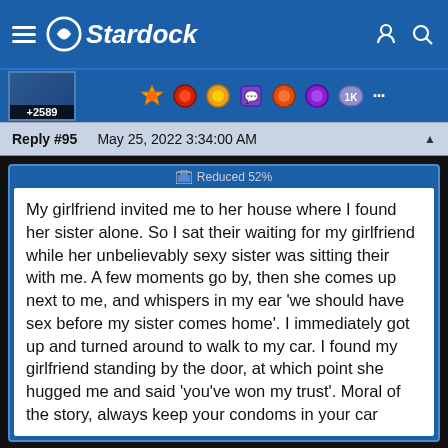Stardock
Reply #95   May 25, 2022 3:34:00 AM
[Figure (screenshot): Forum post screenshot showing text content embedded in a Stardock forum page, reduced 52%]
My girlfriend invited me to her house where I found her sister alone. So I sat their waiting for my girlfriend while her unbelievably sexy sister was sitting their with me. A few moments go by, then she comes up next to me, and whispers in my ear 'we should have sex before my sister comes home'. I immediately got up and turned around to walk to my car. I found my girlfriend standing by the door, at which point she hugged me and said 'you've won my trust'. Moral of the story, always keep your condoms in your car